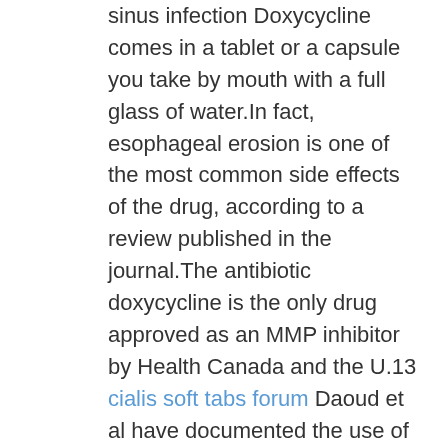sinus infection Doxycycline comes in a tablet or a capsule you take by mouth with a full glass of water.In fact, esophageal erosion is one of the most common side effects of the drug, according to a review published in the journal.The antibiotic doxycycline is the only drug approved as an MMP inhibitor by Health Canada and the U.13 cialis soft tabs forum Daoud et al have documented the use of minocycline among people with asthma, and they examined the effects of this drug across a number of spirometric parameters of lung function as related to IgE suppression.Generally speaking, drug manufacturers are in the “business” of m.The extent of absorption is unknown Doxycycline is an antibiotic that affects inflammatory processes as well as decreases gut microbiota (including beneficial probiotic bacteria) (Saarela et al.
The 50 mg and 100 mg ou acheter propecia capsule shells contain: gelatin, FD&C Blue #1 and titanium...